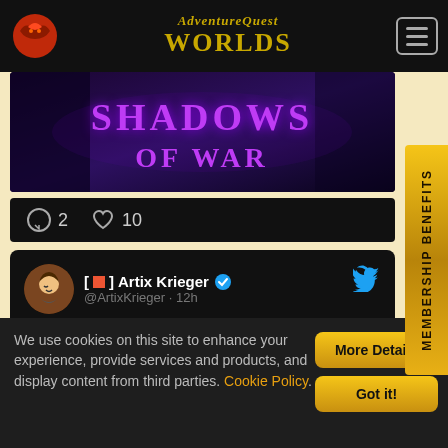AdventureQuest Worlds
[Figure (screenshot): Shadows of War banner image with purple stylized text on dark fantasy background]
2  10
[@] Artix Krieger (verified) @ArtixKrieger · 12h
As promised... here is a pic of Spider from his
MEMBERSHIP BENEFITS
We use cookies on this site to enhance your experience, provide services and products, and display content from third parties. Cookie Policy.